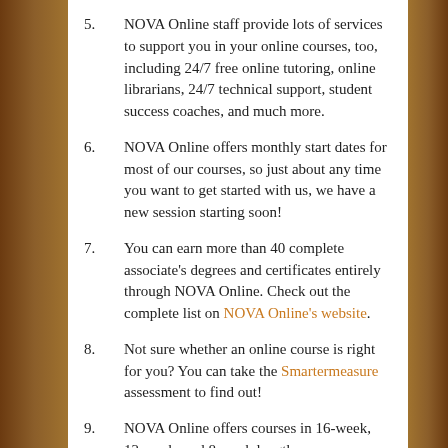5.    NOVA Online staff provide lots of services to support you in your online courses, too, including 24/7 free online tutoring, online librarians, 24/7 technical support, student success coaches, and much more.
6.    NOVA Online offers monthly start dates for most of our courses, so just about any time you want to get started with us, we have a new session starting soon!
7.    You can earn more than 40 complete associate's degrees and certificates entirely through NOVA Online. Check out the complete list on NOVA Online's website.
8.    Not sure whether an online course is right for you? You can take the Smartermeasure assessment to find out!
9.    NOVA Online offers courses in 16-week, 12-week, and 8-week lengths so you can choose the schedule and course length that best fits your needs.
10.    Most NOVA Online students take classes on campus